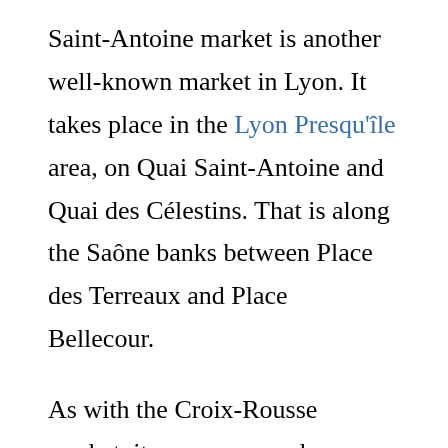Saint-Antoine market is another well-known market in Lyon. It takes place in the Lyon Presqu'île area, on Quai Saint-Antoine and Quai des Célestins. That is along the Saône banks between Place des Terreaux and Place Bellecour.
As with the Croix-Rousse market, it occurs every day except Monday, from 6 am to 1 pm. In a way, it is like a local open-air supermarket, as more than 130 merchants offer every kind of food product and Lyon gastronomy specialities.